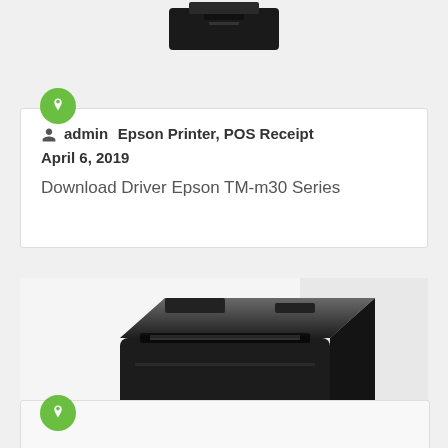[Figure (photo): Partial view of a black Epson printer at the top of the page, cropped]
[Figure (illustration): Green circle with white pushpin/thumbtack icon]
admin  Epson Printer, POS Receipt  April 6, 2019
Download Driver Epson TM-m30 Series
[Figure (photo): Epson TM-m30 black POS thermal receipt printer, cube-shaped, front-right angle view showing EPSON branding on front]
[Figure (illustration): Green circle with white pushpin/thumbtack icon (second card)]